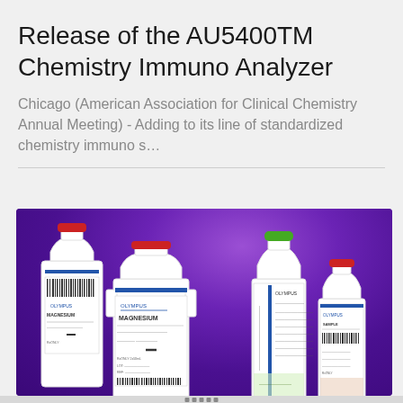Release of the AU5400TM Chemistry Immuno Analyzer
Chicago (American Association for Clinical Chemistry Annual Meeting) - Adding to its line of standardized chemistry immuno s…
[Figure (photo): Photo of multiple Olympus chemistry reagent bottles/containers (labeled MAGNESIUM and others) with red and green caps, displayed against a purple gradient background.]